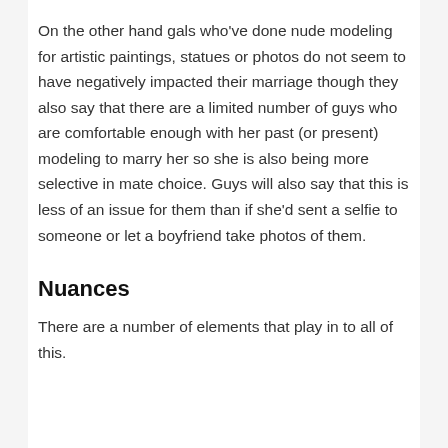On the other hand gals who've done nude modeling for artistic paintings, statues or photos do not seem to have negatively impacted their marriage though they also say that there are a limited number of guys who are comfortable enough with her past (or present) modeling to marry her so she is also being more selective in mate choice. Guys will also say that this is less of an issue for them than if she'd sent a selfie to someone or let a boyfriend take photos of them.
Nuances
There are a number of elements that play in to all of this.